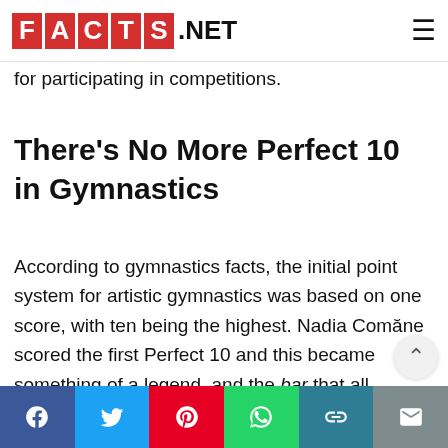FACTS.NET
for participating in competitions.
There's No More Perfect 10 in Gymnastics
According to gymnastics facts, the initial point system for artistic gymnastics was based on one score, with ten being the highest. Nadia Comăne scored the first Perfect 10 and this became something of a legend, and the bar that all gymnasts hoped to achieve.
Social share bar: Facebook, Twitter, Pinterest, WhatsApp, Link, Mail